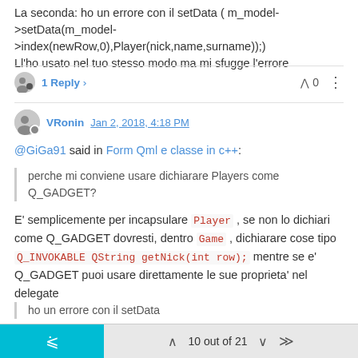La seconda: ho un errore con il setData ( m_model->setData(m_model->index(newRow,0),Player(nick,name,surname));) Ll'ho usato nel tuo stesso modo ma mi sfugge l'errore
1 Reply >   ^ 0
VRonin  Jan 2, 2018, 4:18 PM
@GiGa91 said in Form Qml e classe in c++:
perche mi conviene usare dichiarare Players come Q_GADGET?
E' semplicemente per incapsulare Player . se non lo dichiari come Q_GADGET dovresti, dentro Game , dichiarare cose tipo Q_INVOKABLE QString getNick(int row); mentre se e' Q_GADGET puoi usare direttamente le sue proprieta' nel delegate
ho un errore con il setData
Cosa ti scrive l'errore?
10 out of 21